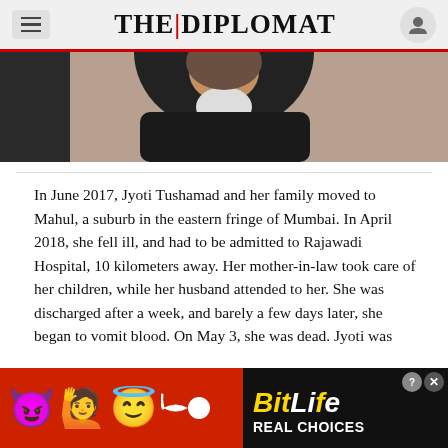THE DIPLOMAT
[Figure (photo): Partial photo of a man in a dark jacket, visible from shoulders up, face partially visible looking down]
In June 2017, Jyoti Tushamad and her family moved to Mahul, a suburb in the eastern fringe of Mumbai. In April 2018, she fell ill, and had to be admitted to Rajawadi Hospital, 10 kilometers away. Her mother-in-law took care of her children, while her husband attended to her. She was discharged after a week, and barely a few days later, she began to vomit blood. On May 3, she was dead. Jyoti was
[Figure (advertisement): BitLife mobile game advertisement with emoji characters (devil, angel woman, angel face, sperm) on red background, with 'BitLife REAL CHOICES' text on black background]